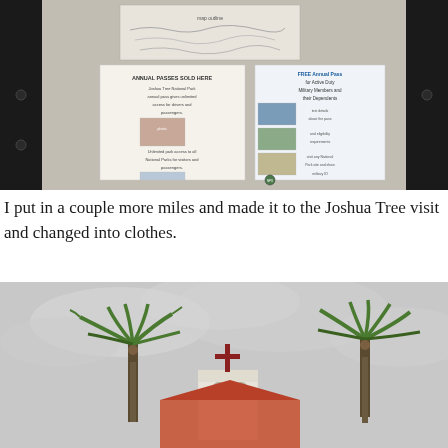[Figure (photo): A bulletin board with a dark wooden frame covered in gray/beige fabric, displaying informational posters about National Park annual passes including one about free annual passes for Active Duty Military Members and their Dependents, and a map at the top.]
I put in a couple more miles and made it to the Joshua Tree visitor center and changed into clothes.
[Figure (photo): A church or chapel building with a white bell tower topped with a red cross, surrounded by palm trees with fronds blowing in the wind, under an overcast gray sky. Red-roofed buildings visible in the background.]